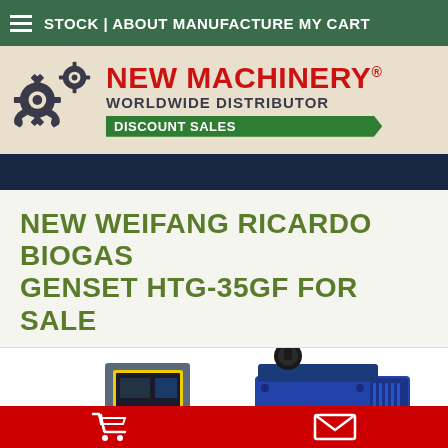STOCK | ABOUT MANUFACTURE MY CART
[Figure (logo): New Machinery worldwide distributor discount sales logo with gear graphic]
NEW WEIFANG RICARDO BIOGAS GENSET HTG-35GF FOR SALE
[Figure (photo): Photo of Weifang Ricardo Biogas Genset HTG-35GF showing control panel on the left and engine on the right]
Cart icon and envelope icon